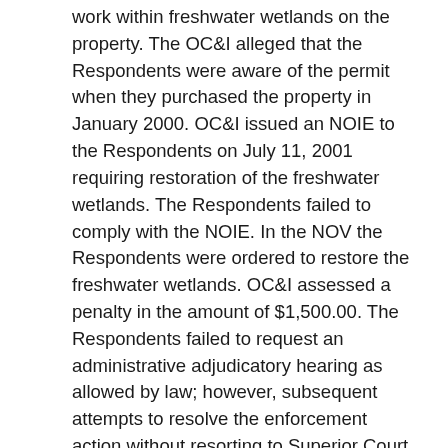work within freshwater wetlands on the property. The OC&I alleged that the Respondents were aware of the permit when they purchased the property in January 2000. OC&I issued an NOIE to the Respondents on July 11, 2001 requiring restoration of the freshwater wetlands. The Respondents failed to comply with the NOIE. In the NOV the Respondents were ordered to restore the freshwater wetlands. OC&I assessed a penalty in the amount of $1,500.00. The Respondents failed to request an administrative adjudicatory hearing as allowed by law; however, subsequent attempts to resolve the enforcement action without resorting to Superior Court to enforce the NOV resulted in a Consent Agreement between the Respondents and the OC&I. The Respondents argued and provided documentation to support their argument that that they did not conduct clearing of the perimeter wetland. The Respondents also argued that they were not aware of the prior permit issued to the former owner of the property and argued that they